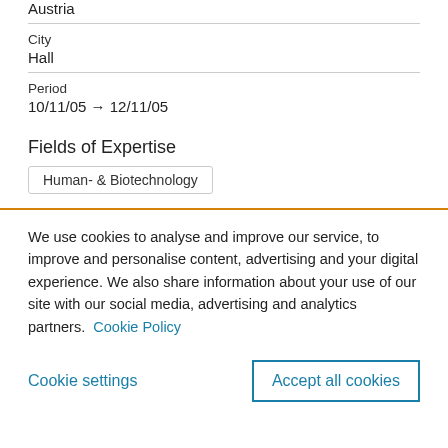Austria
City
Hall
Period
10/11/05 → 12/11/05
Fields of Expertise
Human- & Biotechnology
We use cookies to analyse and improve our service, to improve and personalise content, advertising and your digital experience. We also share information about your use of our site with our social media, advertising and analytics partners.  Cookie Policy
Cookie settings
Accept all cookies